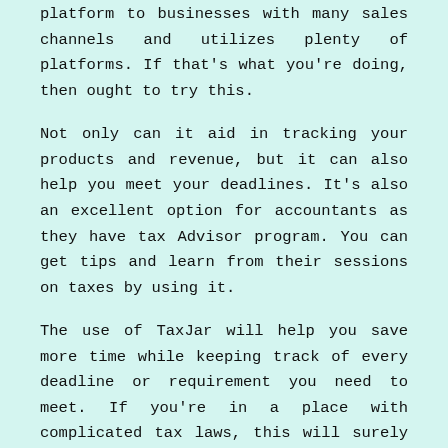platform to businesses with many sales channels and utilizes plenty of platforms. If that's what you're doing, then ought to try this.
Not only can it aid in tracking your products and revenue, but it can also help you meet your deadlines. It's also an excellent option for accountants as they have tax Advisor program. You can get tips and learn from their sessions on taxes by using it.
The use of TaxJar will help you save more time while keeping track of every deadline or requirement you need to meet. If you're in a place with complicated tax laws, this will surely help you wrap your head around it.
If handling your taxes is straightforward and straightforward, then TaxJar could be a waste of investment. If you have only one or two channels of sales, TaxJar won't be needed to track